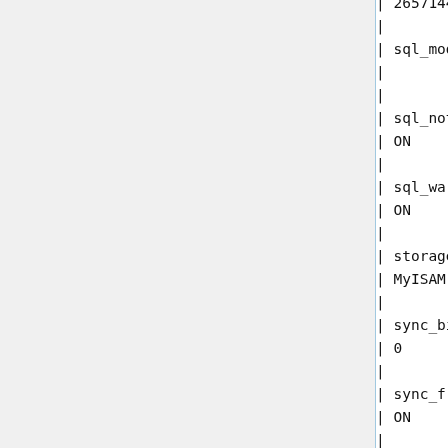| 2657144
|
| sql_mode
|
|
| sql_notes
| ON
|
| sql_warnings
| ON
|
| storage_engine
| MyISAM
|
| sync_binlog
| 0
|
| sync_frm
| ON
|
| sync_replication
| 0
|
|
| sync_replication_slave_id
| 0